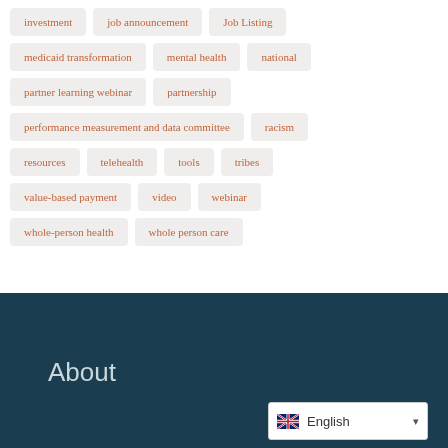investment
job announcement
Job Listing
medicaid transformation
mental health
national
partner learning webinar
partnership
performance measurement and data committee
racism
resources
telehealth
tools
tribes
value-based payment
video
webinar
whole-person health
whole person care
About
English